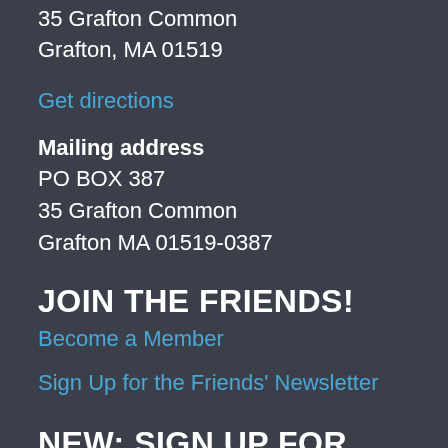35 Grafton Common
Grafton, MA 01519
Get directions
Mailing address
PO BOX 387
35 Grafton Common
Grafton MA 01519-0387
JOIN THE FRIENDS!
Become a Member
Sign Up for the Friends' Newsletter
NEW: SIGN UP FOR THE LIBRARY'S CHILDREN'S ROOM